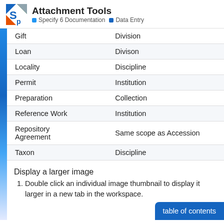Attachment Tools — Specify 6 Documentation > Data Entry
| Gift | Division |
| Loan | Divison |
| Locality | Discipline |
| Permit | Institution |
| Preparation | Collection |
| Reference Work | Institution |
| Repository Agreement | Same scope as Accession |
| Taxon | Discipline |
Display a larger image
Double click an individual image thumbnail to display it larger in a new tab in the workspace.